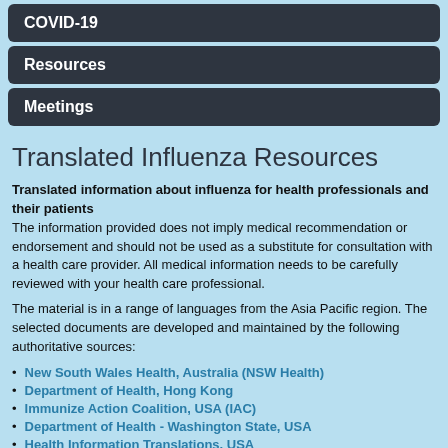COVID-19
Resources
Meetings
Translated Influenza Resources
Translated information about influenza for health professionals and their patients
The information provided does not imply medical recommendation or endorsement and should not be used as a substitute for consultation with a health care provider. All medical information needs to be carefully reviewed with your health care professional.
The material is in a range of languages from the Asia Pacific region. The selected documents are developed and maintained by the following authoritative sources:
New South Wales Health, Australia (NSW Health)
Department of Health, Hong Kong
Immunize Action Coalition, USA (IAC)
Department of Health - Washington State, USA
Health Information Translations, USA